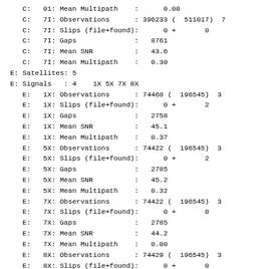C:   01: Mean Multipath    :      0.00
C:   7I: Observations      : 396233 (  511017)  7
C:   7I: Slips (file+found):      0 +       0
C:   7I: Gaps              :   8761
C:   7I: Mean SNR          :   43.6
C:   7I: Mean Multipath    :   0.30
E: Satellites: 5
E: Signals   : 4    1X 5X 7X 8X
E:   1X: Observations      : 74468 (  196545)  3
E:   1X: Slips (file+found):      0 +       2
E:   1X: Gaps              :   2758
E:   1X: Mean SNR          :   45.1
E:   1X: Mean Multipath    :   0.37
E:   5X: Observations      : 74422 (  196545)  3
E:   5X: Slips (file+found):      0 +       2
E:   5X: Gaps              :   2785
E:   5X: Mean SNR          :   45.2
E:   5X: Mean Multipath    :   0.32
E:   7X: Observations      : 74422 (  196545)  3
E:   7X: Slips (file+found):      0 +       0
E:   7X: Gaps              :   2785
E:   7X: Mean SNR          :   44.2
E:   7X: Mean Multipath    :   0.00
E:   8X: Observations      : 74429 (  196545)  3
E:   8X: Slips (file+found):      0 +       0